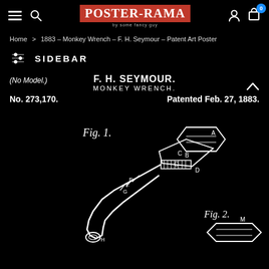Poster-Rama — Navigation bar with menu, search, logo, user icon, cart (0)
Home > 1883 – Monkey Wrench – F. H. Seymour – Patent Art Poster
SIDEBAR
(No Model.)
F. H. SEYMOUR.
MONKEY WRENCH.
No. 273,170.   Patented Feb. 27, 1883.
[Figure (illustration): Patent drawing of a monkey wrench (F. H. Seymour, 1883), showing Fig. 1 (front view) and Fig. 2 (partial view), white line art on black background with labeled parts A, B, C, D, E, F, G, H, M.]